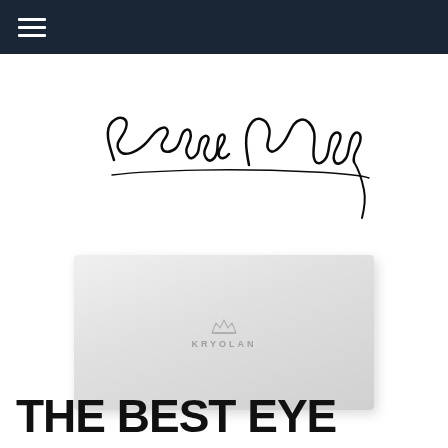Navigation bar with hamburger menu
[Figure (illustration): Handwritten cursive signature reading 'Shalini Mehta' in black ink on white background]
[Figure (photo): White Kryolan makeup palette box with Kryolan crown logo and brand name embossed on the lid, photographed on a light background]
THE BEST EYE